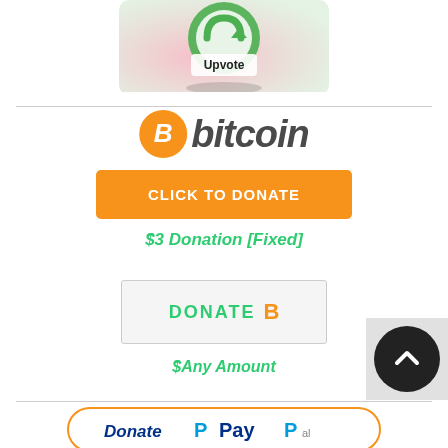[Figure (photo): Partial view of a circular green upvote button/badge with 'Upvote' text on a pink/green blurred background]
[Figure (logo): Bitcoin logo: orange circle with white italic B symbol followed by 'bitcoin' in bold dark italic text]
[Figure (other): Orange rounded rectangle button with white bold uppercase text 'CLICK TO DONATE']
$3 Donation [Fixed]
[Figure (other): Light grey bordered rectangle button with green bold 'DONATE' text and orange Bitcoin B symbol]
$Any Amount
[Figure (other): Partial PayPal Donate button with orange border at bottom of page]
[Figure (other): Black circular scroll-to-top arrow button overlaid on right side]